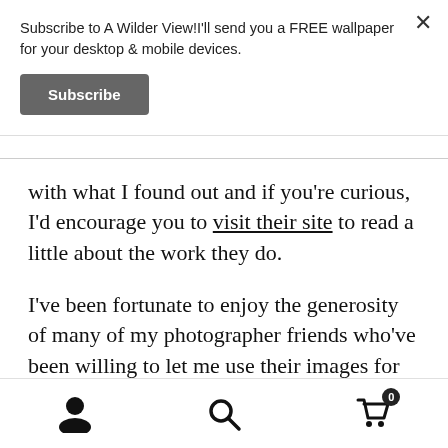Subscribe to A Wilder View!I'll send you a FREE wallpaper for your desktop & mobile devices.
Subscribe
with what I found out and if you're curious, I'd encourage you to visit their site to read a little about the work they do.
I've been fortunate to enjoy the generosity of many of my photographer friends who've been willing to let me use their images for reference on a number of my paintings. Some of my most popular pieces wouldn't have been possible